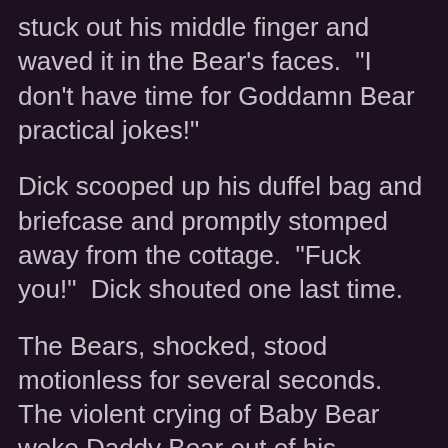stuck out his middle finger and waved it in the Bear's faces.  "I don't have time for Goddamn Bear practical jokes!"
Dick scooped up his duffel bag and briefcase and promptly stomped away from the cottage.  "Fuck you!"  Dick shouted one last time.
The Bears, shocked, stood motionless for several seconds.  The violent crying of Baby Bear woke Daddy Bear out of his stunned stupor.  "Where is that little monster!?" Shouted Daddy Bear.
But Dick was already off, banging on